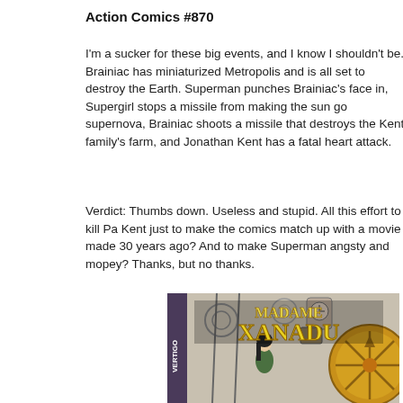Action Comics #870
I'm a sucker for these big events, and I know I shouldn't be. Brainiac has miniaturized Metropolis and is all set to destroy the Earth. Superman punches Brainiac's face in, Supergirl stops a missile from making the sun go supernova, Brainiac shoots a missile that destroys the Kent family's farm, and Jonathan Kent has a fatal heart attack.
Verdict: Thumbs down. Useless and stupid. All this effort to kill Pa Kent just to make the comics match up with a movie made 30 years ago? And to make Superman angsty and mopey? Thanks, but no thanks.
[Figure (illustration): Comic book cover for Madame Xanadu (Vertigo imprint). Shows a woman with dark hair in a mystical setting with gears, chains, clocks, and a large golden compass/wheel. Title text 'MADAME XANADU' in large yellow letters, 'VERTIGO' on the left spine.]